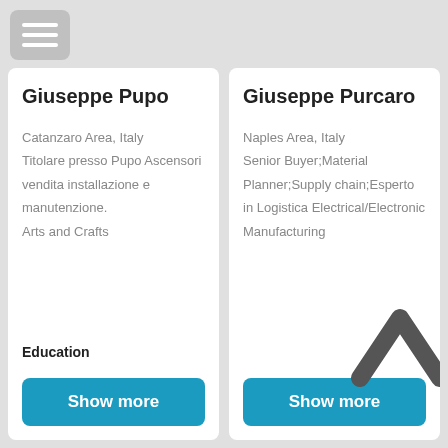[Figure (other): Hamburger menu button (three horizontal white lines on grey rounded rectangle)]
Giuseppe Pupo
Catanzaro Area, Italy
Titolare presso Pupo Ascensori vendita installazione e manutenzione.
Arts and Crafts
Education
Show more
Giuseppe Purcaro
Naples Area, Italy
Senior Buyer;Material Planner;Supply chain;Esperto in Logistica
Electrical/Electronic Manufacturing
Show more